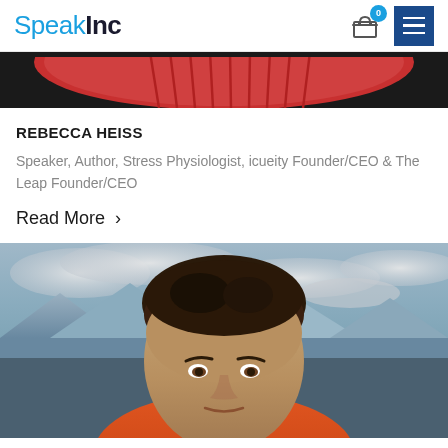SpeakInc
[Figure (photo): Partial top image showing a red/coral colored object against a dark background - cropped speaker photo from above]
REBECCA HEISS
Speaker, Author, Stress Physiologist, icueity Founder/CEO & The Leap Founder/CEO
Read More ›
[Figure (photo): Headshot of a man with dark hair wearing an orange jacket, photographed outdoors with mountains and cloudy sky in the background]